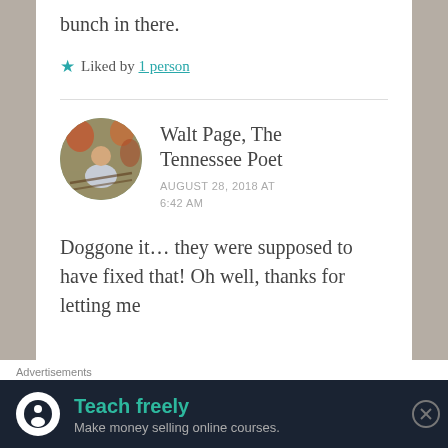bunch in there.
★ Liked by 1 person
Walt Page, The Tennessee Poet
AUGUST 28, 2018 AT 6:42 AM
Doggone it… they were supposed to have fixed that! Oh well, thanks for letting me
Advertisements
Teach freely
Make money selling online courses.